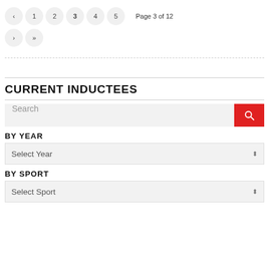‹ 1 2 3 4 5  Page 3 of 12  ‹ »
CURRENT INDUCTEES
Search
BY YEAR
Select Year
BY SPORT
Select Sport